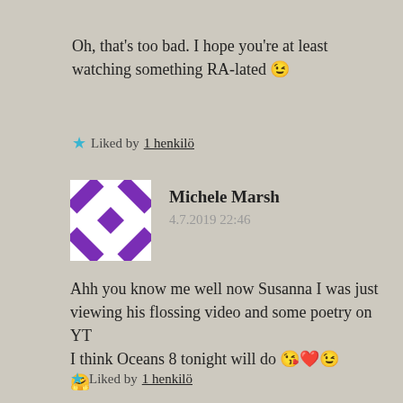Oh, that's too bad. I hope you're at least watching something RA-lated 😉
★ Liked by 1 henkilö
[Figure (illustration): Purple and white geometric pattern avatar for Michele Marsh]
Michele Marsh
4.7.2019 22:46
Ahh you know me well now Susanna I was just viewing his flossing video and some poetry on YT
I think Oceans 8 tonight will do 😘❤️😉
🤗
★ Liked by 1 henkilö